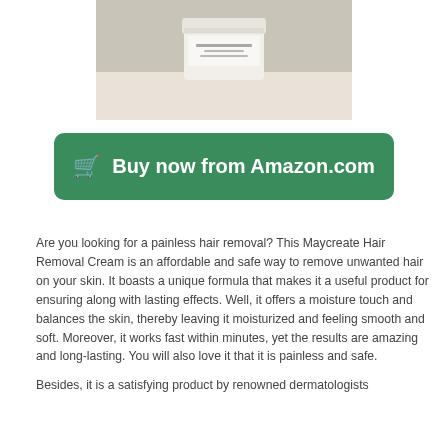[Figure (photo): A white cream/lotion jar product photo on a light beige surface with light background]
🛒 Buy now from Amazon.com
Are you looking for a painless hair removal? This Maycreate Hair Removal Cream is an affordable and safe way to remove unwanted hair on your skin. It boasts a unique formula that makes it a useful product for ensuring along with lasting effects. Well, it offers a moisture touch and balances the skin, thereby leaving it moisturized and feeling smooth and soft. Moreover, it works fast within minutes, yet the results are amazing and long-lasting. You will also love it that it is painless and safe.
Besides, it is a satisfying product by renowned dermatologists